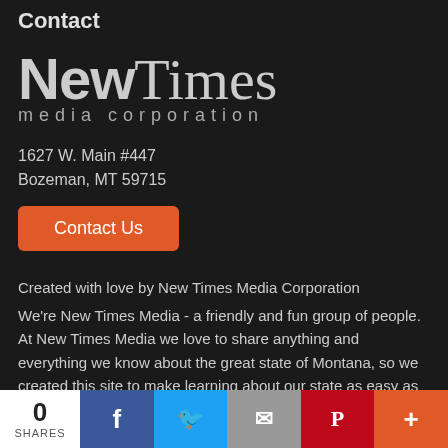Contact
[Figure (logo): New Times Media Corporation logo — 'New' in bold sans-serif, 'Times' in serif, 'media corporation' in small spaced sans-serif below]
1627 W. Main #447
Bozeman, MT 59715
Contact Us
Created with love by New Times Media Corporation
We're New Times Media - a friendly and fun group of people. At New Times Media we love to share anything and everything we know about the great state of Montana, so we created this site to make learning about our state as easy as possible. Our site is
0 SHARES  [Facebook] [Twitter] [Mail] [Pinterest] [More]